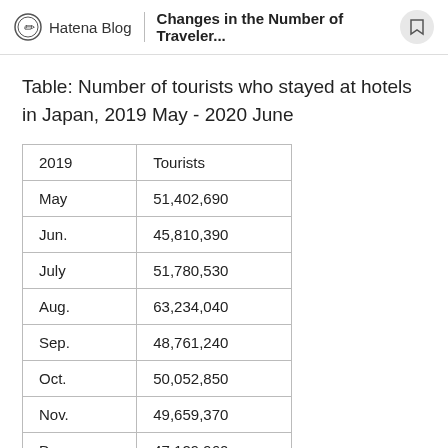Hatena Blog | Changes in the Number of Traveler...
Table: Number of tourists who stayed at hotels in Japan, 2019 May - 2020 June
| 2019 | Tourists |
| --- | --- |
| May | 51,402,690 |
| Jun. | 45,810,390 |
| July | 51,780,530 |
| Aug. | 63,234,040 |
| Sep. | 48,761,240 |
| Oct. | 50,052,850 |
| Nov. | 49,659,370 |
| Dec. | 47,129,960 |